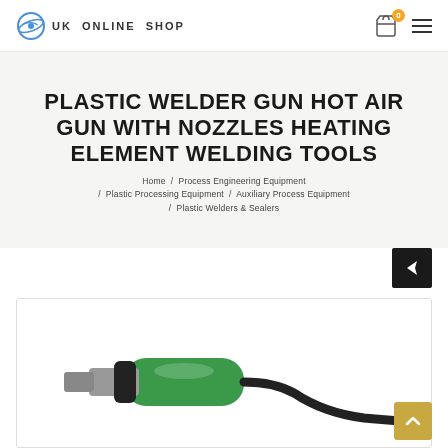UK ONLINE SHOP
PLASTIC WELDER GUN HOT AIR GUN WITH NOZZLES HEATING ELEMENT WELDING TOOLS
Home / Process Engineering Equipment / Plastic Processing Equipment / Auxiliary Process Equipment / Plastic Welders & Sealers
[Figure (photo): Photo of a plastic welder gun / hot air gun with green grip and metal nozzle attachment, power cord visible]
[Figure (other): Share/forward button icon (black square with white arrow)]
[Figure (other): Back to top button (gold/yellow square with white chevron up arrow)]